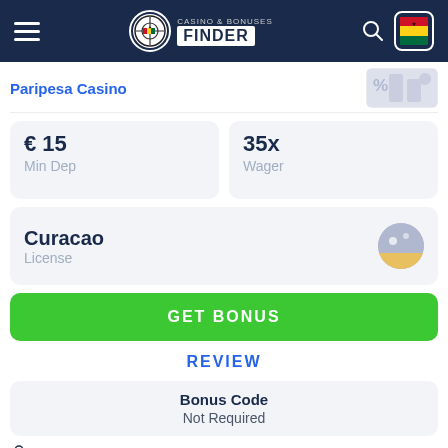[Figure (screenshot): Casino & Bonuses Finder website navigation header with hamburger menu, logo, search icon and Ghana flag button on dark navy background]
Paripesa Casino
€ 15
Min Dep
35x
Wager
Curacao
License
GET BONUS
REVIEW
Bonus Code
Not Required
User feedback
2
GOOD
0
BAD
18+, new players only